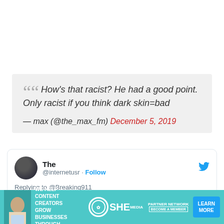“How's that racist? He had a good point. Only racist if you think dark skin=bad — max (@the_max_fm) December 5, 2019
The @internetusr · Follow
Replying to @Breaking911
He points out that it's difficult to see someone with dark skin holding a dark football and all
[Figure (screenshot): Advertisement banner for SHE Media Partner Network with teal background, woman with laptop, text: WE HELP CONTENT CREATORS GROW BUSINESSES THROUGH..., SHE logo, LEARN MORE button]